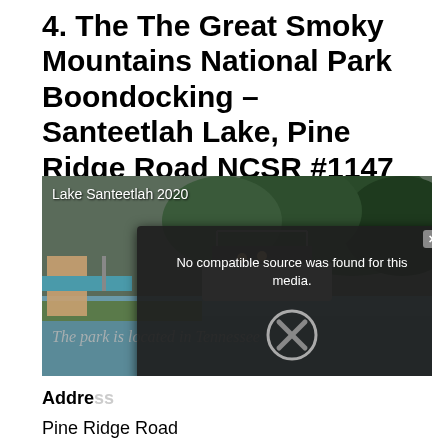4. The The Great Smoky Mountains National Park Boondocking – Santeetlah Lake, Pine Ridge Road NCSR #1147
[Figure (photo): Screenshot of a video player showing Lake Santeetlah 2020, with boats on the lake and trees in the background. An error dialog overlay reads 'No compatible source was found for this media.' with an X/close button. Behind the dialog, partially visible italic text reads 'The park is located in Tennessee'.]
Address
Pine Ridge Road